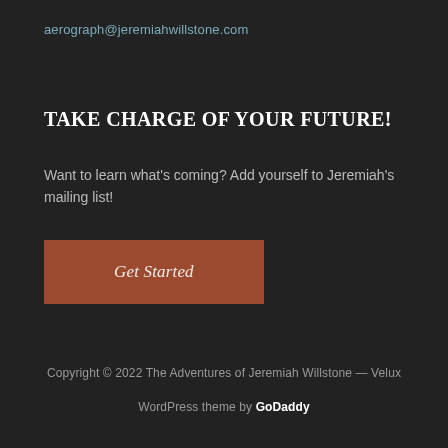aerograph@jeremiahwillstone.com
TAKE CHARGE OF YOUR FUTURE!
Want to learn what's coming? Add yourself to Jeremiah's mailing list!
[Figure (other): Orange/brown rectangular button labeled 'Get Started' in italic serif font]
Copyright © 2022 The Adventures of Jeremiah Willstone — Velux
WordPress theme by GoDaddy